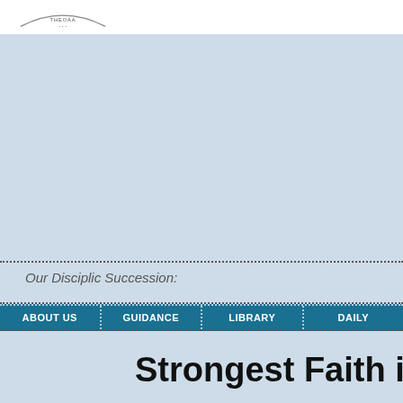[Logo: arc emblem with text]
Our Disciplic Succession:
ABOUT US | GUIDANCE | LIBRARY | DAILY
Strongest Faith in